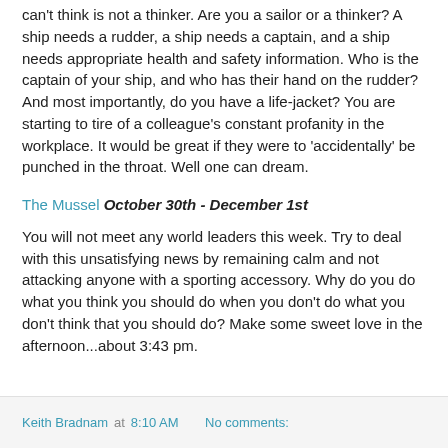can't think is not a thinker. Are you a sailor or a thinker? A ship needs a rudder, a ship needs a captain, and a ship needs appropriate health and safety information. Who is the captain of your ship, and who has their hand on the rudder? And most importantly, do you have a life-jacket? You are starting to tire of a colleague's constant profanity in the workplace. It would be great if they were to 'accidentally' be punched in the throat. Well one can dream.
The Mussel October 30th - December 1st
You will not meet any world leaders this week. Try to deal with this unsatisfying news by remaining calm and not attacking anyone with a sporting accessory. Why do you do what you think you should do when you don't do what you don't think that you should do? Make some sweet love in the afternoon...about 3:43 pm.
Keith Bradnam at 8:10 AM    No comments: